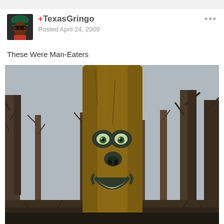[Figure (photo): User avatar showing a person in a dark hat and red clothing]
+TexasGringo
Posted April 24, 2009
...
These Were Man-Eaters
[Figure (photo): Photo of a tree trunk in a bare winter forest with a carved/painted smiling face featuring green eyes, a dark nose, and a grinning mouth with white teeth]